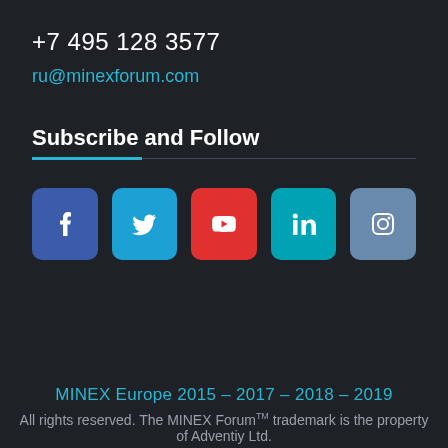+7 495 128 3577
ru@minexforum.com
Subscribe and Follow
[Figure (infographic): Row of five social media icon buttons: Facebook (blue), Twitter (cyan), YouTube (red), LinkedIn (teal), Instagram (gray-blue)]
MINEX Europe 2015 – 2017 – 2018 – 2019
All rights reserved. The MINEX Forum™ trademark is the property of Adventiy Ltd.